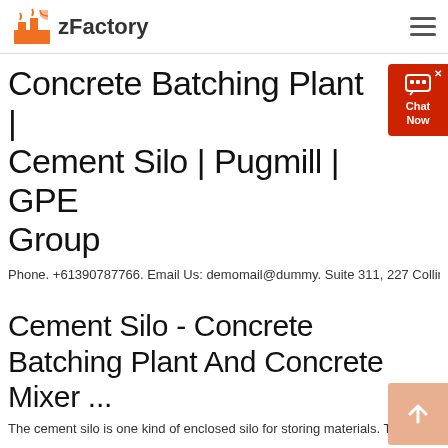zFactory
Concrete Batching Plant | Cement Silo | Pugmill | GPE Group
Phone. +61390787766. Email Us: demomail@dummy. Suite 311, 227 Collin...
Cement Silo - Concrete Batching Plant And Concrete Mixer ...
The cement silo is one kind of enclosed silo for storing materials. The co...